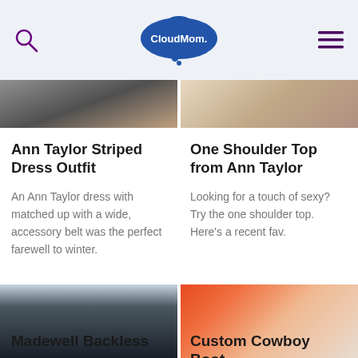CloudMom
[Figure (photo): Partial top images of two fashion/lifestyle photos cropped at top]
Ann Taylor Striped Dress Outfit
An Ann Taylor dress with matched up with a wide, accessory belt was the perfect farewell to winter.
One Shoulder Top from Ann Taylor
Looking for a touch of sexy? Try the one shoulder top. Here's a recent fav.
[Figure (photo): Woman in black dress on balcony with greenery]
[Figure (photo): Woman in cowboy hat with pink scarf on colorful background]
Madewell Backless
Custom Cowboy Boot